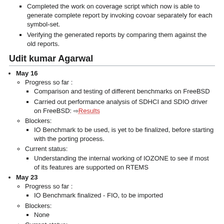Completed the work on coverage script which now is able to generate complete report by invoking covoar separately for each symbol-set.
Verifying the generated reports by comparing them against the old reports.
Udit kumar Agarwal
May 16
Progress so far :
Comparison and testing of different benchmarks on FreeBSD
Carried out performance analysis of SDHCI and SDIO driver on FreeBSD: Results
Blockers:
IO Benchmark to be used, is yet to be finalized, before starting with the porting process.
Current status:
Understanding the internal working of IOZONE to see if most of its features are supported on RTEMS
May 23
Progress so far :
IO Benchmark finalized - FIO, to be imported
Blockers:
None
Current status: